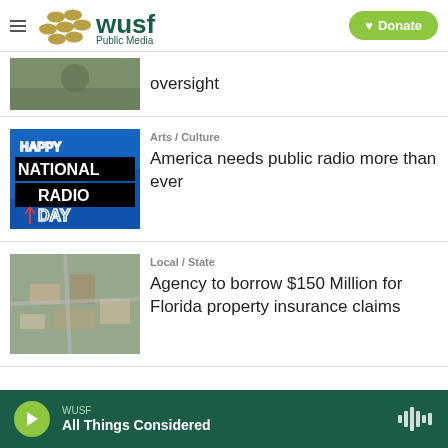WUSF Public Media — Donate
oversight
Arts / Culture
America needs public radio more than ever
Local / State
Agency to borrow $150 Million for Florida property insurance claims
WUSF — All Things Considered